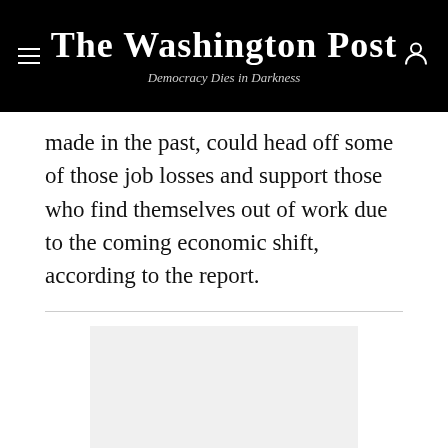The Washington Post — Democracy Dies in Darkness
made in the past, could head off some of those job losses and support those who find themselves out of work due to the coming economic shift, according to the report.
[Figure (other): Advertisement placeholder block with light gray background]